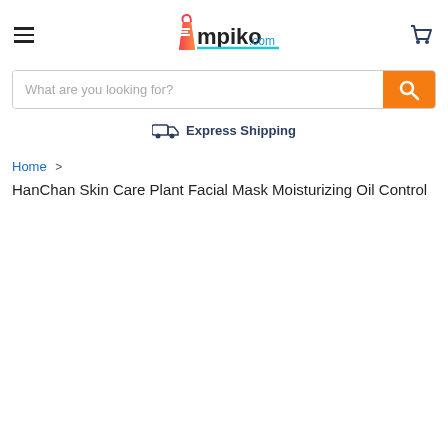[Figure (logo): Empiko.com logo with shopping bag icon in red/orange and teal underline]
What are you looking for?
Express Shipping
Home >
HanChan Skin Care Plant Facial Mask Moisturizing Oil Control